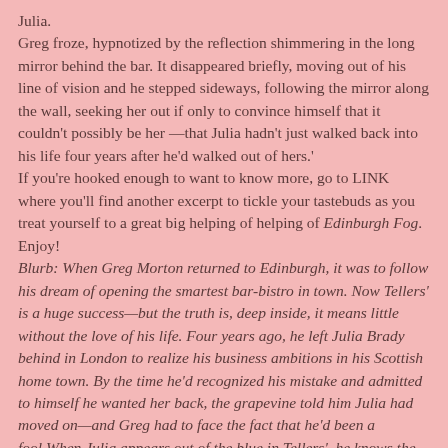Julia.
Greg froze, hypnotized by the reflection shimmering in the long mirror behind the bar. It disappeared briefly, moving out of his line of vision and he stepped sideways, following the mirror along the wall, seeking her out if only to convince himself that it couldn't possibly be her —that Julia hadn't just walked back into his life four years after he'd walked out of hers.'
If you're hooked enough to want to know more, go to LINK where you'll find another excerpt to tickle your tastebuds as you treat yourself to a great big helping of helping of Edinburgh Fog. Enjoy!
Blurb: When Greg Morton returned to Edinburgh, it was to follow his dream of opening the smartest bar-bistro in town. Now Tellers' is a huge success—but the truth is, deep inside, it means little without the love of his life. Four years ago, he left Julia Brady behind in London to realize his business ambitions in his Scottish home town. By the time he'd recognized his mistake and admitted to himself he wanted her back, the grapevine told him Julia had moved on—and Greg had to face the fact that he'd been a fool.When Julia appears out of the blue in Tellers', he knows the only thing he should do is walk right up to her and say hello. But it looks like someone else has their sights set on her, and he's a quick